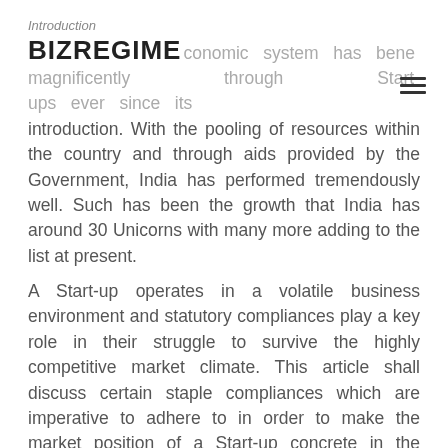Introduction
BIZREGIME economic system has benefited magnificently through Start-ups ever since its introduction. With the pooling of resources within the country and through aids provided by the Government, India has performed tremendously well. Such has been the growth that India has around 30 Unicorns with many more adding to the list at present.
A Start-up operates in a volatile business environment and statutory compliances play a key role in their struggle to survive the highly competitive market climate. This article shall discuss certain staple compliances which are imperative to adhere to in order to make the market position of a Start-up concrete in the Indian economic setup.
Registration